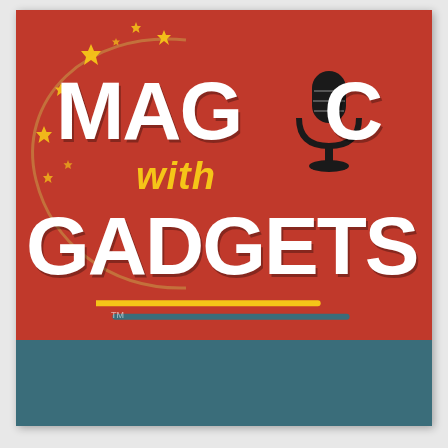[Figure (logo): Podcast cover art for 'Magic with Gadgets'. Red background with large white bold text 'MAGIC' and 'GADGETS', yellow italic 'with' in between. A black microphone icon replaces the 'O' in MAGIC. A decorative arc of yellow stars curves on the left side. Two underline strokes (yellow and teal) appear below GADGETS. Bottom teal banner shows 'EP' in yellow and 'KITCHEN GADGET GROCERY' in white.]